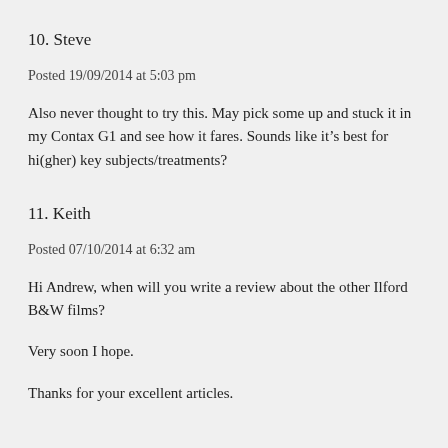10. Steve
Posted 19/09/2014 at 5:03 pm
Also never thought to try this. May pick some up and stuck it in my Contax G1 and see how it fares. Sounds like it’s best for hi(gher) key subjects/treatments?
11. Keith
Posted 07/10/2014 at 6:32 am
Hi Andrew, when will you write a review about the other Ilford B&W films?
Very soon I hope.
Thanks for your excellent articles.